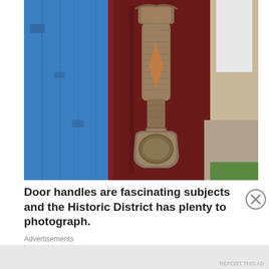[Figure (photo): Close-up photograph of an ornate brass door knocker mounted on a dark red/maroon door, with a blue painted wooden door visible to the left. The door knocker appears to be in the shape of a decorative handle with a fish or serpent-like form and a circular knocker plate at the bottom. A person in white clothing is partially visible in the upper right background.]
Door handles are fascinating subjects and the Historic District has plenty to photograph.
Advertisements